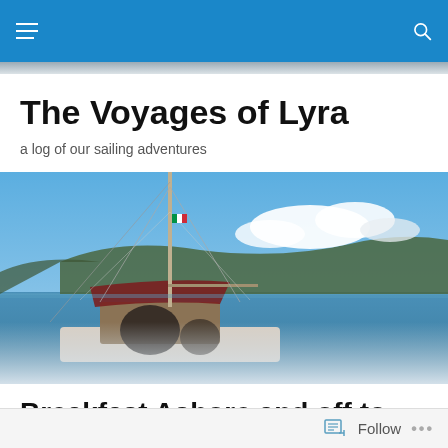The Voyages of Lyra [navigation bar with hamburger menu and search icon]
The Voyages of Lyra
a log of our sailing adventures
[Figure (photo): Panoramic photo taken from a sailboat deck showing the boat's mast, boom with furled sail, and rigging in the foreground; a coastline with green hills and blue sky with white clouds in the background; blue-green sea visible.]
Breakfast Ashore and off to Ischia
Posted by cathyharnett
Follow ...